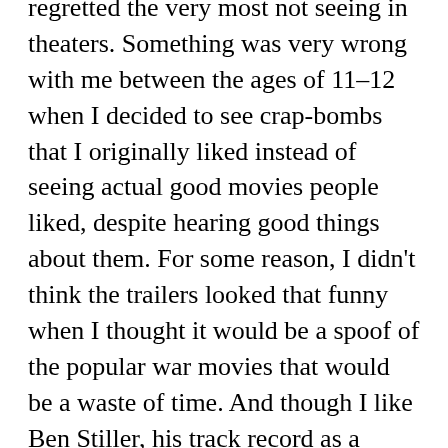regretted the very most not seeing in theaters. Something was very wrong with me between the ages of 11–12 when I decided to see crap-bombs that I originally liked instead of seeing actual good movies people liked, despite hearing good things about them. For some reason, I didn't think the trailers looked that funny when I thought it would be a spoof of the popular war movies that would be a waste of time. And though I like Ben Stiller, his track record as a director was considered spotty for three films he directed previously: Reality Bites (1994), The Cable Guy (1996), and Zoolander (2001), the latter being his funniest at that point. With Tropic Thunder, this is his best-directed comedy yet, making it the second funniest and smartest comedy of 2008 behind